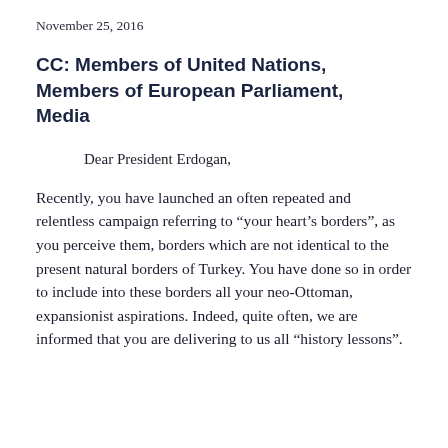November 25, 2016
CC: Members of United Nations, Members of European Parliament, Media
Dear President Erdogan,
Recently, you have launched an often repeated and relentless campaign referring to “your heart’s borders”, as you perceive them, borders which are not identical to the present natural borders of Turkey. You have done so in order to include into these borders all your neo-Ottoman, expansionist aspirations. Indeed, quite often, we are informed that you are delivering to us all “history lessons”.